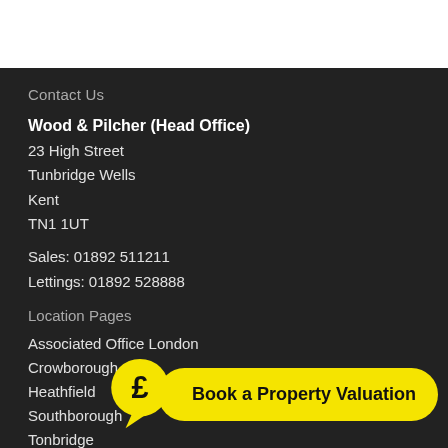Contact Us
Wood & Pilcher (Head Office)
23 High Street
Tunbridge Wells
Kent
TN1 1UT
Sales: 01892 511211
Lettings: 01892 528888
Location Pages
Associated Office London
Crowborough
Heathfield
Southborough
Tonbridge
[Figure (illustration): Yellow speech bubble with pound sign (£) icon, next to a yellow rounded rectangle button labeled 'Book a Property Valuation']